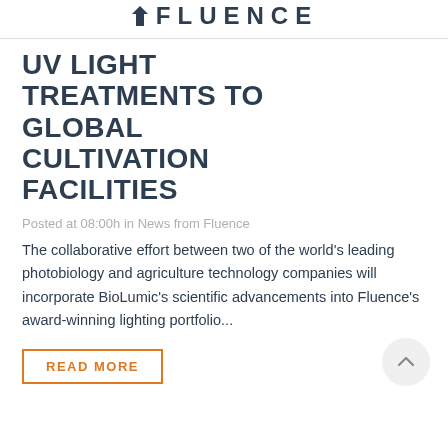FLUENCE
UV LIGHT TREATMENTS TO GLOBAL CULTIVATION FACILITIES
Posted at 08:00h in News from Fluence
The collaborative effort between two of the world's leading photobiology and agriculture technology companies will incorporate BioLumic's scientific advancements into Fluence's award-winning lighting portfolio...
READ MORE